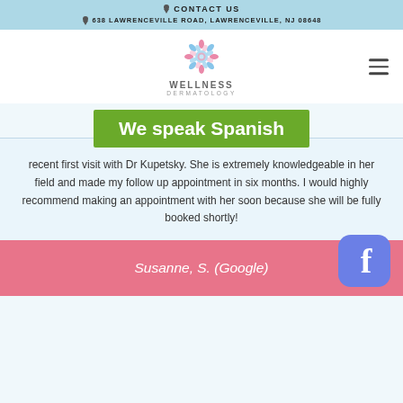CONTACT US
638 LAWRENCEVILLE ROAD, LAWRENCEVILLE, NJ 08648
[Figure (logo): Wellness Dermatology logo with flower mandala icon]
We speak Spanish
recent first visit with Dr Kupetsky. She is extremely knowledgeable in her field and made my follow up appointment in six months. I would highly recommend making an appointment with her soon because she will be fully booked shortly!
Susanne, S. (Google)